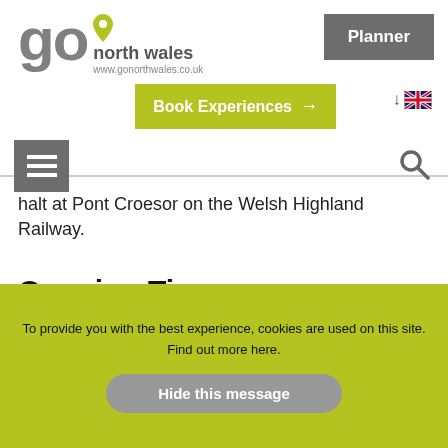go north wales — www.gonorthwales.co.uk — Planner — Book Experiences
halt at Pont Croesor on the Welsh Highland Railway.
Opening Times
* 7 days a week from 10:30 - 16:30.
To provide you with the best experience, cookies are used on this site. Find out more here.